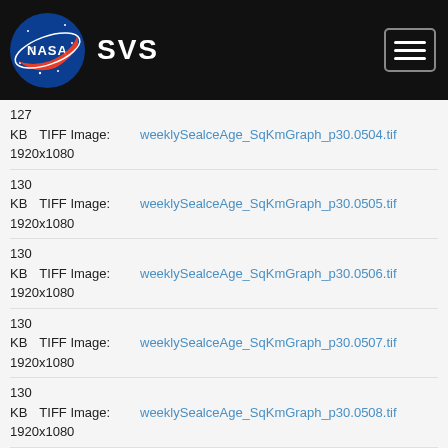NASA SVS
127 KB  TIFF Image: 1920x1080  weeklySealceAge_SqKmGraph_p30.0504.tif
130 KB  TIFF Image: 1920x1080  weeklySealceAge_SqKmGraph_p30.0505.tif
130 KB  TIFF Image: 1920x1080  weeklySealceAge_SqKmGraph_p30.0506.tif
130 KB  TIFF Image: 1920x1080  weeklySealceAge_SqKmGraph_p30.0507.tif
130 KB  TIFF Image: 1920x1080  weeklySealceAge_SqKmGraph_p30.0508.tif
129 KB  TIFF Image: 1920x1080  weeklySealceAge_SqKmGraph_p30.0509.tif
129 KB  TIFF Image: 1920x1080  weeklySealceAge_SqKmGraph_p30.0510.tif
129 KB  TIFF Image: 1920x1080  weeklySealceAge_SqKmGraph_p30.0511.tif
128 KB  TIFF Image: 1920x1080  weeklySealceAge_SqKmGraph_p30.0512.tif
128 KB  TIFF Image: ...  weeklySealceAge_SqKmGraph_p30.0513.tif